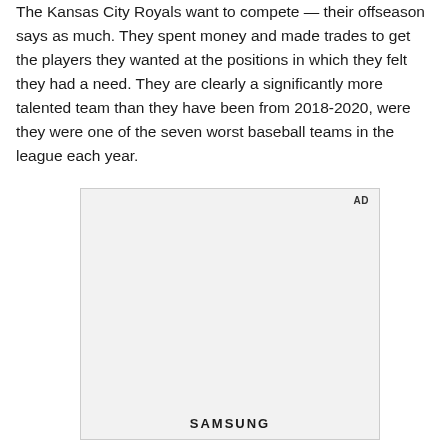The Kansas City Royals want to compete — their offseason says as much. They spent money and made trades to get the players they wanted at the positions in which they felt they had a need. They are clearly a significantly more talented team than they have been from 2018-2020, were they were one of the seven worst baseball teams in the league each year.
[Figure (other): Advertisement placeholder box with 'AD' label in top right and 'SAMSUNG' text at bottom center]